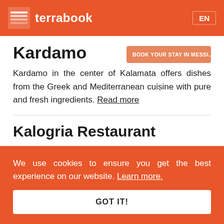terrabook  EN
Kardamo
BOOK YOUR STAY IN MESSI...
Kardamo in the center of Kalamata offers dishes from the Greek and Mediterranean cuisine with pure and fresh ingredients. Read more
Kalogria Restaurant
At the seaside of Kalogria village, Messinia you can enjoy traditional Greek dishes while gazing the sea. Read more
We use cookies to ensure you get the best experience on our website. Learn more.
GOT IT!